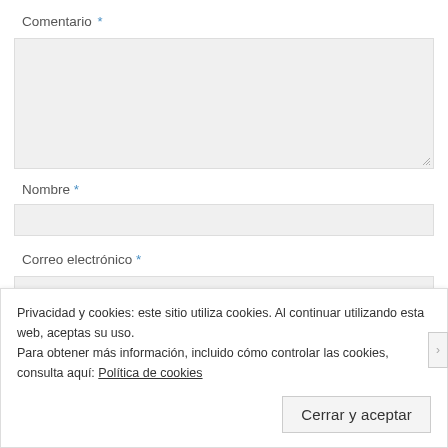Comentario *
[Figure (screenshot): Textarea input field with light gray background and resize handle in bottom right corner]
Nombre *
[Figure (screenshot): Single-line text input field with light gray background]
Correo electrónico *
[Figure (screenshot): Single-line email input field with light gray background, partially visible]
Privacidad y cookies: este sitio utiliza cookies. Al continuar utilizando esta web, aceptas su uso.
Para obtener más información, incluido cómo controlar las cookies, consulta aquí: Política de cookies
Cerrar y aceptar